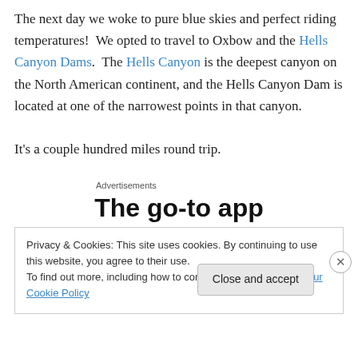The next day we woke to pure blue skies and perfect riding temperatures!  We opted to travel to Oxbow and the Hells Canyon Dams.  The Hells Canyon is the deepest canyon on the North American continent, and the Hells Canyon Dam is located at one of the narrowest points in that canyon.

It's a couple hundred miles round trip.
Advertisements
The go-to app
Privacy & Cookies: This site uses cookies. By continuing to use this website, you agree to their use.
To find out more, including how to control cookies, see here: Our Cookie Policy